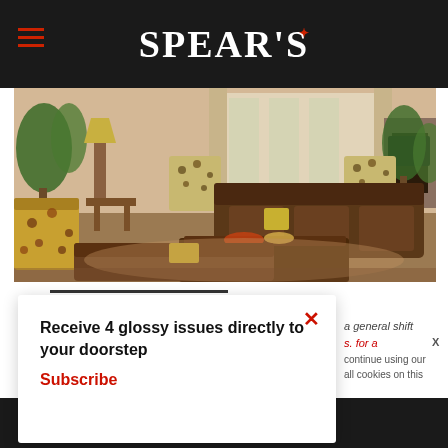SPEAR'S
[Figure (photo): Interior photo of a luxury hotel or apartment living room with brown leather sofas, patterned armchairs, a wooden coffee table with fruit, indoor plants, and curtained windows]
Receive 4 glossy issues directly to your doorstep
Subscribe
...a general shift s. ...for a continue using our all cookies on this
Continue   Learn more
...may Spear's Magazine...